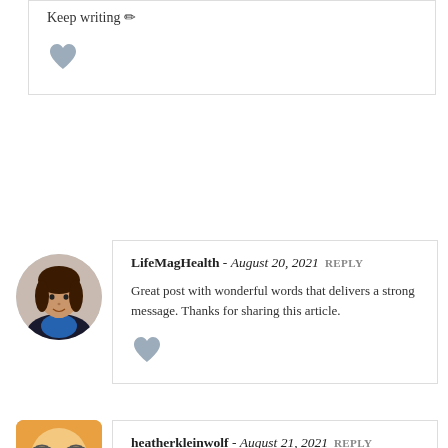Keep writing ✏
[Figure (other): Gray heart like button icon]
[Figure (photo): Profile photo of a woman in a black blazer and blue top, circular crop]
LifeMagHealth - August 20, 2021 REPLY
Great post with wonderful words that delivers a strong message. Thanks for sharing this article.
[Figure (other): Gray heart like button icon]
[Figure (illustration): Cartoon emoji face with glasses on octagonal shape, frustrated expression]
heatherkleinwolf - August 21, 2021 REPLY
Thank you for sharing a piece of your soul with us. The words are beautifully written you are an